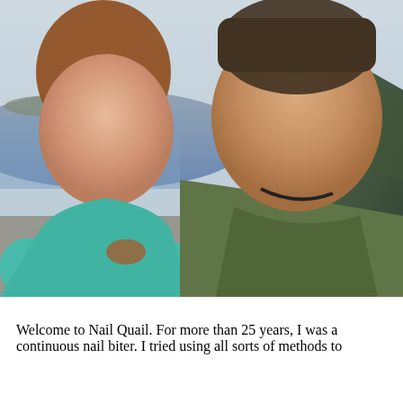[Figure (photo): A selfie photo of a couple smiling outdoors at what appears to be the Cliffs of Moher in Ireland. The woman on the left has red hair in a braid and wears a teal jacket. The man on the right wears an olive green shirt. In the background are ocean, green hillside, and rocky cliffs under an overcast sky.]
Welcome to Nail Quail. For more than 25 years, I was a continuous nail biter. I tried using all sorts of methods to